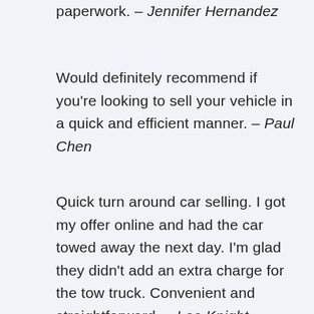paperwork. – Jennifer Hernandez
Would definitely recommend if you're looking to sell your vehicle in a quick and efficient manner. – Paul Chen
Quick turn around car selling. I got my offer online and had the car towed away the next day. I'm glad they didn't add an extra charge for the tow truck. Convenient and straightforward. – Lee Knight